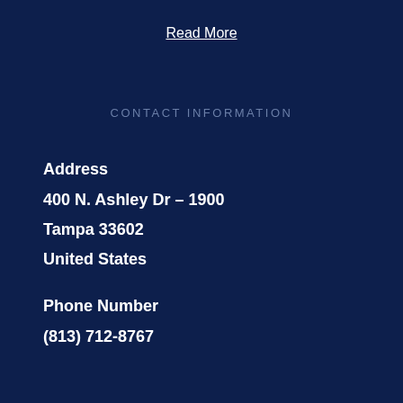Read More
CONTACT INFORMATION
Address
400 N. Ashley Dr – 1900
Tampa 33602
United States
Phone Number
(813) 712-8767